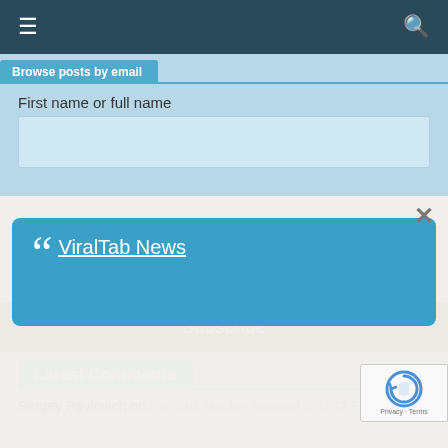≡  🔍
Browse posts by email
First name or full name
[Figure (screenshot): Modal popup with quote card containing 'ViralTab News' link and a close button]
Subscribe
Latest Comments
Sergey Pavlovich on Famous Hacker Wanted In USA For Biggest